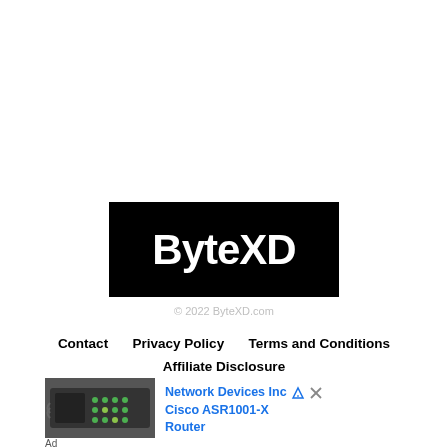[Figure (logo): ByteXD logo — white bold text 'ByteXD' on a solid black rectangular background]
© 2022 ByteXD.com
Contact    Privacy Policy    Terms and Conditions
Affiliate Disclosure
[Figure (photo): Close-up photo of network/electronic equipment with green LED lights, resembling a Cisco router or similar networking hardware]
Network Devices Inc  Cisco ASR1001-X Router
Ad